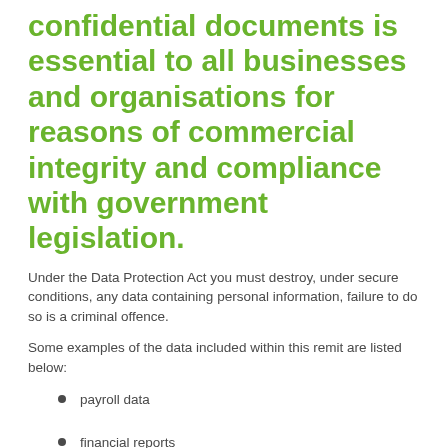confidential documents is essential to all businesses and organisations for reasons of commercial integrity and compliance with government legislation.
Under the Data Protection Act you must destroy, under secure conditions, any data containing personal information, failure to do so is a criminal offence.
Some examples of the data included within this remit are listed below:
payroll data
financial reports